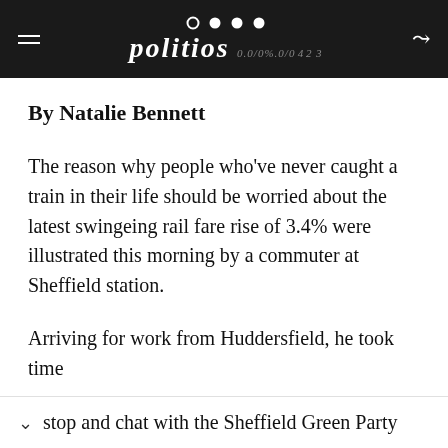politios (navigation bar with logo and dots)
By Natalie Bennett
The reason why people who've never caught a train in their life should be worried about the latest swingeing rail fare rise of 3.4% were illustrated this morning by a commuter at Sheffield station.
Arriving for work from Huddersfield, he took time to stop and chat with the Sheffield Green Party